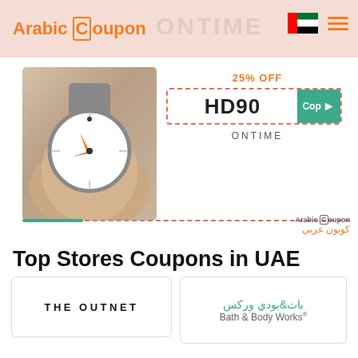Arabic Coupon | ONTIME | UAE flag | menu
[Figure (screenshot): Coupon banner for ONTIME watch store showing 25% OFF coupon code HD90 with a copy button, watch photo on left, ArabicCoupon watermark at bottom]
Top Stores Coupons in UAE
[Figure (logo): THE OUTNET store logo in black capital letters]
[Figure (logo): Bath & Body Works logo with Arabic text باث&بودي وركس above and Bath & Body Works below in teal/grey]